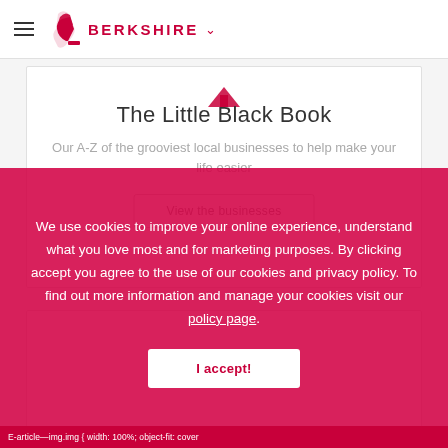BERKSHIRE
The Little Black Book
Our A-Z of the grooviest local businesses to help make your life easier
View the businesses
We use cookies to improve your online experience, understand what you love most and for marketing purposes. By clicking accept you agree to the use of our cookies and privacy policy. To find out more information and manage your cookies visit our policy page.
I accept!